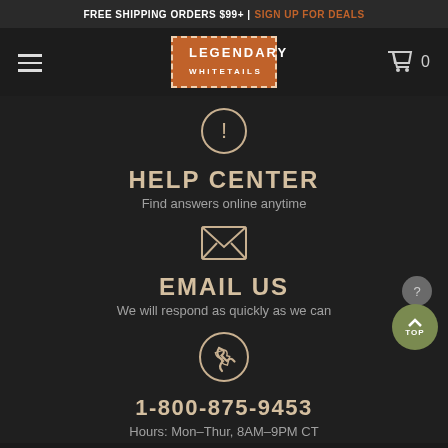FREE SHIPPING ORDERS $99+ | SIGN UP FOR DEALS
[Figure (logo): Legendary Whitetails brand logo in orange box with dashed border]
HELP CENTER
Find answers online anytime
EMAIL US
We will respond as quickly as we can
1-800-875-9453
Hours: Mon–Thur, 8AM–9PM CT